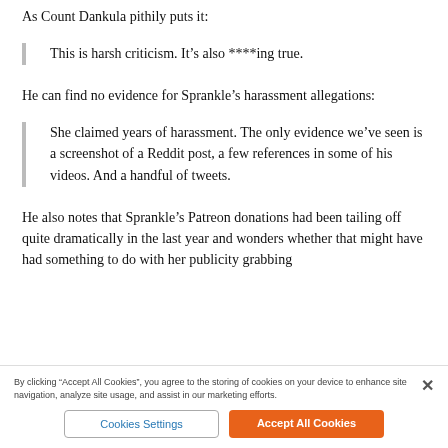As Count Dankula pithily puts it:
This is harsh criticism. It’s also ****ing true.
He can find no evidence for Sprankle’s harassment allegations:
She claimed years of harassment. The only evidence we’ve seen is a screenshot of a Reddit post, a few references in some of his videos. And a handful of tweets.
He also notes that Sprankle’s Patreon donations had been tailing off quite dramatically in the last year and wonders whether that might have had something to do with her publicity grabbing
By clicking “Accept All Cookies”, you agree to the storing of cookies on your device to enhance site navigation, analyze site usage, and assist in our marketing efforts.
Cookies Settings
Accept All Cookies